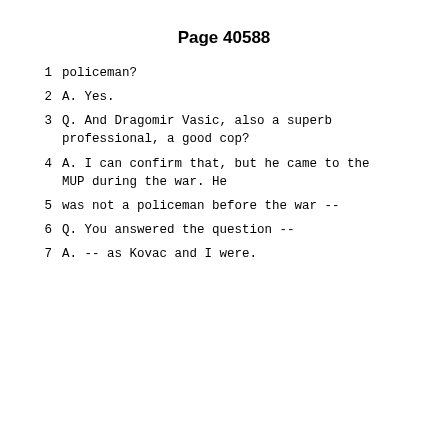Page 40588
1     policeman?
2          A.   Yes.
3          Q.   And Dragomir Vasic, also a superb professional, a good cop?
4          A.   I can confirm that, but he came to the MUP during the war.  He
5       was not a policeman before the war --
6          Q.   You answered the question --
7          A.   -- as Kovac and I were.